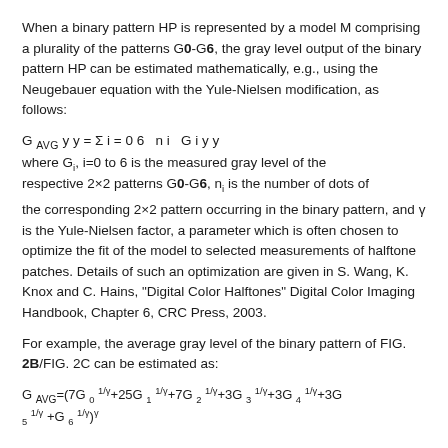When a binary pattern HP is represented by a model M comprising a plurality of the patterns G0-G6, the gray level output of the binary pattern HP can be estimated mathematically, e.g., using the Neugebauer equation with the Yule-Nielsen modification, as follows:
where G_i, i=0 to 6 is the measured gray level of the respective 2×2 patterns G0-G6, n_i is the number of dots of the corresponding 2×2 pattern occurring in the binary pattern, and γ is the Yule-Nielsen factor, a parameter which is often chosen to optimize the fit of the model to selected measurements of halftone patches. Details of such an optimization are given in S. Wang, K. Knox and C. Hains, "Digital Color Halftones" Digital Color Imaging Handbook, Chapter 6, CRC Press, 2003.
For example, the average gray level of the binary pattern of FIG. 2B/FIG. 2C can be estimated as: